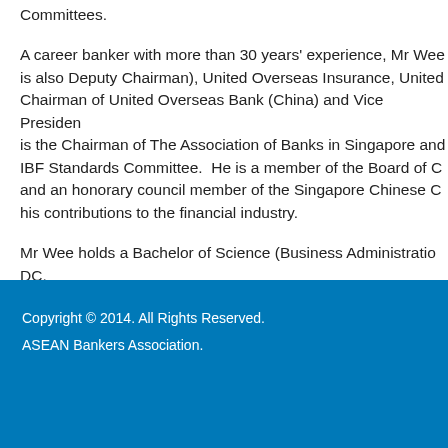Committees.
A career banker with more than 30 years' experience, Mr Wee is also Deputy Chairman), United Overseas Insurance, United Chairman of United Overseas Bank (China) and Vice Presiden is the Chairman of The Association of Banks in Singapore and IBF Standards Committee.  He is a member of the Board of C and an honorary council member of the Singapore Chinese C his contributions to the financial industry.
Mr Wee holds a Bachelor of Science (Business Administration DC.
Copyright © 2014. All Rights Reserved.
ASEAN Bankers Association.